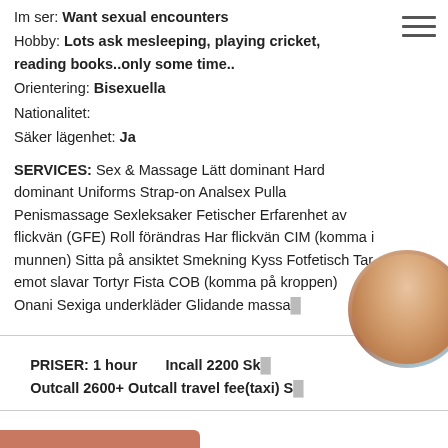Im ser: Want sexual encounters
Hobby: Lots ask mesleeping, playing cricket, reading books..only some time..
Orientering: Bisexuella
Nationalitet:
Säker lägenhet: Ja
SERVICES: Sex & Massage Lätt dominant Hard dominant Uniforms Strap-on Analsex Pulla Penismassage Sexleksaker Fetischer Erfarenhet av flickvän (GFE) Roll förändras Har flickvän CIM (komma i munnen) Sitta på ansiktet Smekning Kyss Fotfetisch Tar emot slavar Tortyr Fista COB (komma på kroppen) Onani Sexiga underkläder Glidande massa...
PRISER: 1 hour    Incall 2200 Sk... Outcall 2600+ Outcall travel fee(taxi) S...